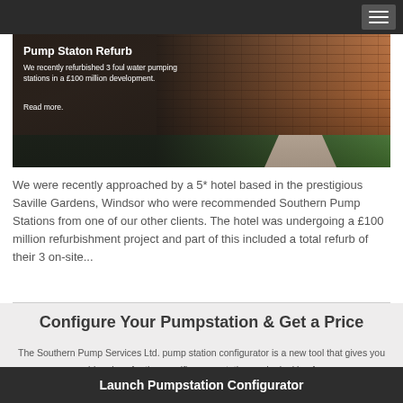[Figure (photo): Hero image of a brick building at Saville Gardens Windsor with overlay text: 'Pump Staton Refurb - We recently refurbished 3 foul water pumping stations in a £100 million development. Read more.']
We were recently approached by a 5* hotel based in the prestigious Saville Gardens, Windsor who were recommended Southern Pump Stations from one of our other clients. The hotel was undergoing a £100 million refurbishment project and part of this included a total refurb of their 3 on-site...
Configure Your Pumpstation & Get a Price
The Southern Pump Services Ltd. pump station configurator is a new tool that gives you guide prices for the specific pump station you're looking for.
Launch Pumpstation Configurator